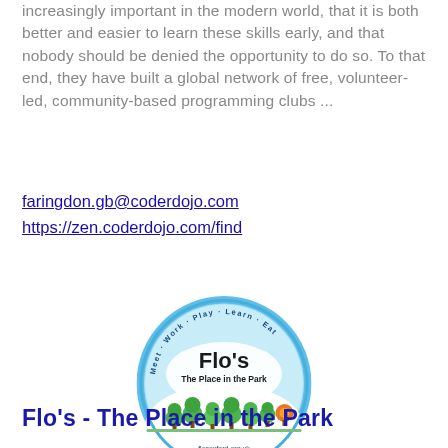increasingly important in the modern world, that it is both better and easier to learn these skills early, and that nobody should be denied the opportunity to do so. To that end, they have built a global network of free, volunteer-led, community-based programming clubs ...
faringdon.gb@coderdojo.com
https://zen.coderdojo.com/find
[Figure (logo): Flo's - The Place in the Park circular logo with sky blue background, green trees, text 'Flo's The Place in the Park' and 'flosoxford.org.uk'. Circular badge with tagline 'Meet · Work · Play · Learn · Eat']
Flo's - The Place in the Park